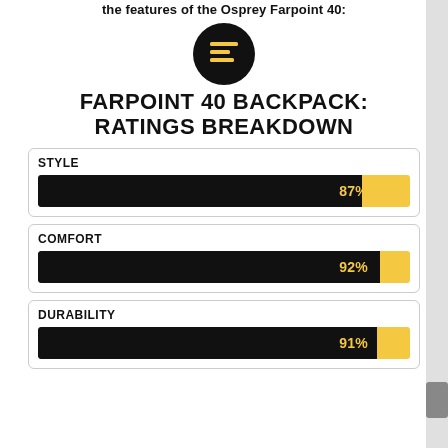the features of the Osprey Farpoint 40:
[Figure (illustration): Black circle icon with a text/list document symbol in yellow/gold color]
FARPOINT 40 BACKPACK: RATINGS BREAKDOWN
[Figure (bar-chart): Farpoint 40 Backpack: Ratings Breakdown]